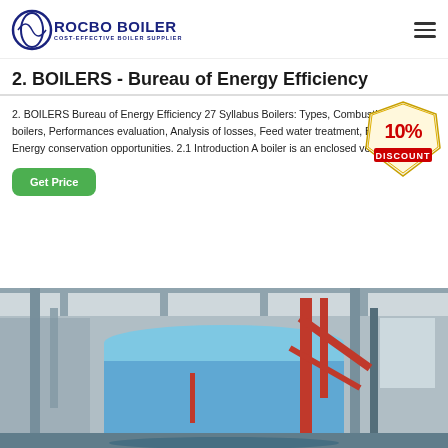ROCBO BOILER — COST-EFFECTIVE BOILER SUPPLIER
2. BOILERS - Bureau of Energy Efficiency
2. BOILERS Bureau of Energy Efficiency 27 Syllabus Boilers: Types, Combustion in boilers, Performances evaluation, Analysis of losses, Feed water treatment, Blow down, Energy conservation opportunities. 2.1 Introduction A boiler is an enclosed vessel that…
[Figure (illustration): 10% DISCOUNT badge/stamp graphic in red and yellow]
[Figure (photo): Industrial boiler room with large blue cylindrical boiler, red pipes, and industrial equipment]